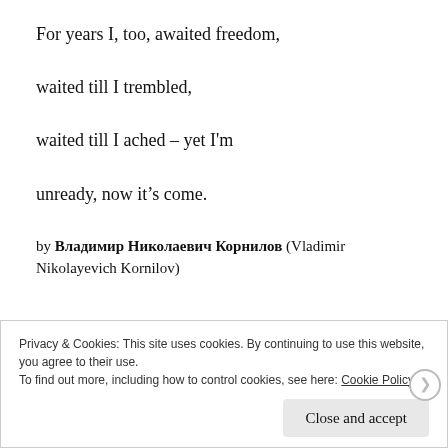For years I, too, awaited freedom,
waited till I trembled,
waited till I ached – yet I'm
unready, now it's come.
by Владимир Николаевич Корнилов (Vladimir Nikolayevich Kornilov)
Privacy & Cookies: This site uses cookies. By continuing to use this website, you agree to their use.
To find out more, including how to control cookies, see here: Cookie Policy
Close and accept